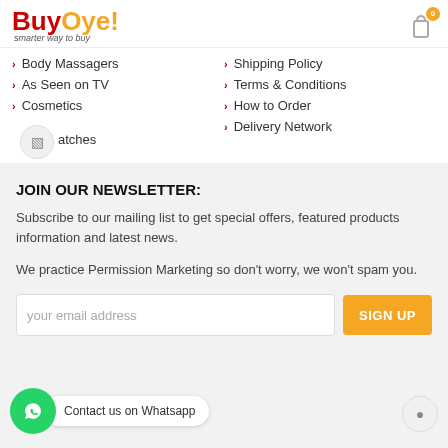[Figure (logo): BuyOye! logo with tagline 'smarter way to buy']
Body Massagers
As Seen on TV
Cosmetics
Watches
Shipping Policy
Terms & Conditions
How to Order
Delivery Network
JOIN OUR NEWSLETTER:
Subscribe to our mailing list to get special offers, featured products information and latest news.
We practice Permission Marketing so don't worry, we won't spam you.
[Figure (screenshot): Email signup form with input field placeholder 'your email address' and orange SIGN UP button]
[Figure (illustration): WhatsApp contact button with label 'Contact us on Whatsapp']